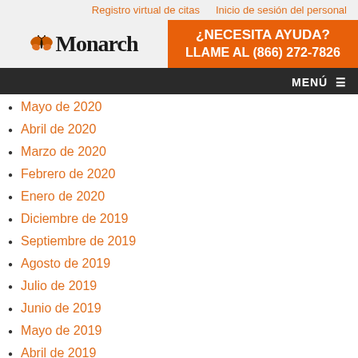Registro virtual de citas    Inicio de sesión del personal
[Figure (logo): Monarch logo with butterfly icon]
¿NECESITA AYUDA?
LLAME AL (866) 272-7826
MENÚ
Mayo de 2020
Abril de 2020
Marzo de 2020
Febrero de 2020
Enero de 2020
Diciembre de 2019
Septiembre de 2019
Agosto de 2019
Julio de 2019
Junio de 2019
Mayo de 2019
Abril de 2019
Marzo de 2019
Febrero de 2019